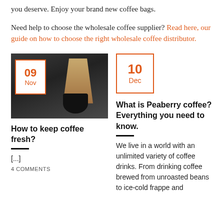you deserve. Enjoy your brand new coffee bags.
Need help to choose the wholesale coffee supplier? Read here, our guide on how to choose the right wholesale coffee distributor.
[Figure (photo): A dark photo of coffee brewing equipment including a Chemex pour-over coffee maker on a dark background with 'Coffee time' written on a chalkboard]
How to keep coffee fresh?
[...]
4 COMMENTS
What is Peaberry coffee? Everything you need to know.
We live in a world with an unlimited variety of coffee drinks. From drinking coffee brewed from unroasted beans to ice-cold frappe and